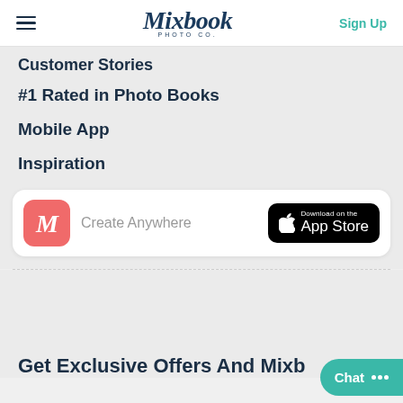Mixbook Photo Co. | Sign Up
Customer Stories
#1 Rated in Photo Books
Mobile App
Inspiration
[Figure (screenshot): App card with Mixbook M logo icon in salmon/red, 'Create Anywhere' text, and Download on the App Store button]
Get Exclusive Offers And Mixb...
Chat